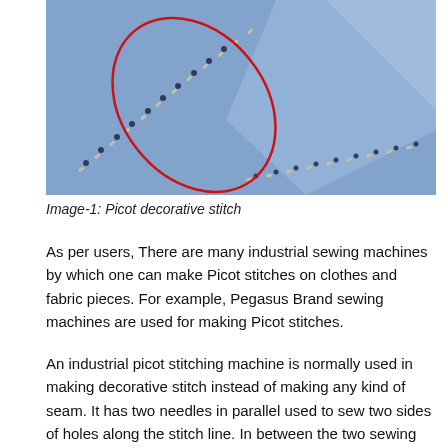[Figure (photo): Close-up photo of blue fabric with a picot decorative stitch line running diagonally. A red ellipse/circle is drawn on the image highlighting part of the stitch pattern.]
Image-1: Picot decorative stitch
As per users, There are many industrial sewing machines by which one can make Picot stitches on clothes and fabric pieces. For example, Pegasus Brand sewing machines are used for making Picot stitches.
An industrial picot stitching machine is normally used in making decorative stitch instead of making any kind of seam. It has two needles in parallel used to sew two sides of holes along the stitch line. In between the two sewing needles, there is a cutter (blade), and a punching needle. The punching needle